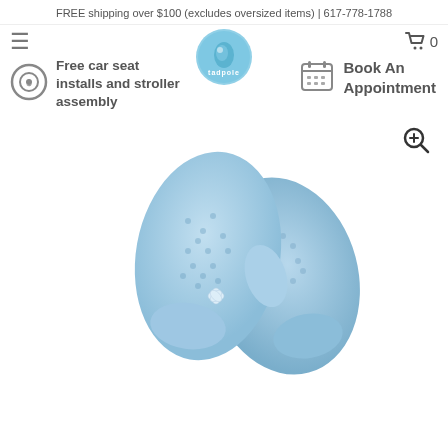FREE shipping over $100 (excludes oversized items) | 617-778-1788
[Figure (logo): Tadpole store logo - circular blue badge with fish/tadpole design]
Free car seat installs and stroller assembly
Book An Appointment
[Figure (photo): Light blue knitted baby mittens with small decorative detail, photographed on white background]